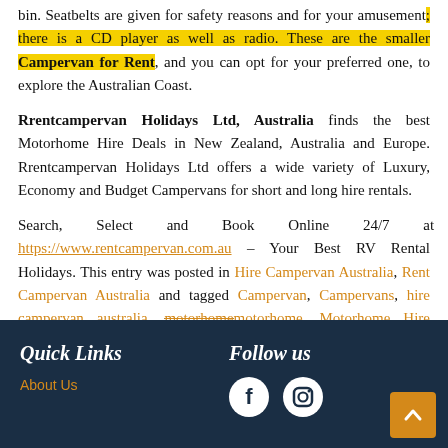bin. Seatbelts are given for safety reasons and for your amusement; there is a CD player as well as radio. These are the smaller Campervan for Rent, and you can opt for your preferred one, to explore the Australian Coast.
Rrentcampervan Holidays Ltd, Australia finds the best Motorhome Hire Deals in New Zealand, Australia and Europe. Rrentcampervan Holidays Ltd offers a wide variety of Luxury, Economy and Budget Campervans for short and long hire rentals.
Search, Select and Book Online 24/7 at https://www.rentcampervan.com.au – Your Best RV Rental Holidays. This entry was posted in Hire Campervan Australia, Rent Campervan Australia and tagged Campervan, Campervans, hire campervan australia, motorhome, Motorhome Hire Australia, Motorhomes, Rent Campervan
Quick Links
Follow us
About Us